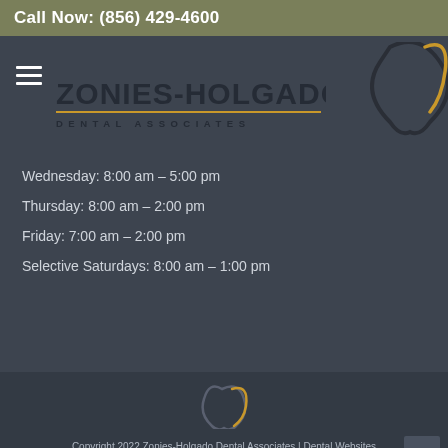Call Now: (856) 429-4600
[Figure (logo): Zonies-Holgado Dental Associates logo with tooth accent graphic and hamburger menu icon]
Wednesday: 8:00 am – 5:00 pm
Thursday: 8:00 am – 2:00 pm
Friday: 7:00 am – 2:00 pm
Selective Saturdays: 8:00 am – 1:00 pm
Copyright 2022 Zonies-Holgado Dental Associates | Dental Websites by My Social Practice | Privacy Policy